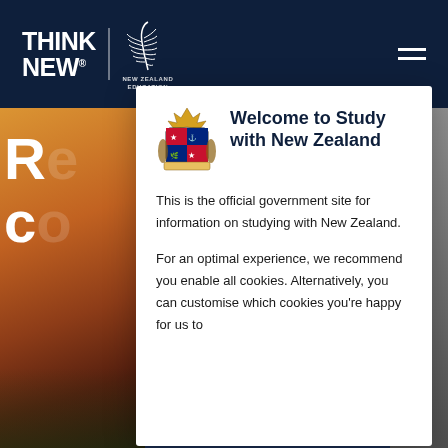THINK NEW — New Zealand Education
[Figure (screenshot): Website screenshot showing New Zealand Education 'Think New' header with fern logo on dark navy background, and a background image of a school building with a welcome modal overlay in white showing New Zealand coat of arms, title 'Welcome to Study with New Zealand', and cookie consent text.]
Welcome to Study with New Zealand
This is the official government site for information on studying with New Zealand.
For an optimal experience, we recommend you enable all cookies. Alternatively, you can customise which cookies you're happy for us to